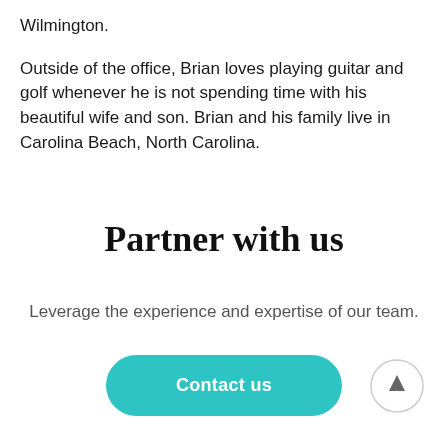Wilmington.

Outside of the office, Brian loves playing guitar and golf whenever he is not spending time with his beautiful wife and son. Brian and his family live in Carolina Beach, North Carolina.
Partner with us
Leverage the experience and expertise of our team.
[Figure (other): Teal rounded pill button labeled 'Contact us' and a light gray circular scroll-to-top arrow button]